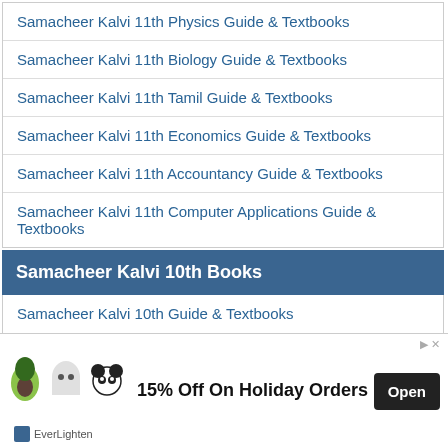Samacheer Kalvi 11th Physics Guide & Textbooks
Samacheer Kalvi 11th Biology Guide & Textbooks
Samacheer Kalvi 11th Tamil Guide & Textbooks
Samacheer Kalvi 11th Economics Guide & Textbooks
Samacheer Kalvi 11th Accountancy Guide & Textbooks
Samacheer Kalvi 11th Computer Applications Guide & Textbooks
Samacheer Kalvi 10th Books
Samacheer Kalvi 10th Guide & Textbooks
Samacheer Kalvi 10th Maths Guide & Textbooks
Samacheer Kalvi 10th Science Guide & Textbooks
Samacheer Kalvi 10th Social Science Guide & Textbooks
[Figure (screenshot): Advertisement banner: 15% Off On Holiday Orders. Open button. EverLighten brand.]